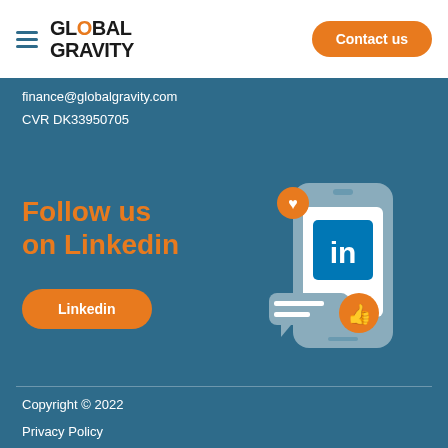Global Gravity | Contact us
finance@globalgravity.com
CVR DK33950705
Follow us on Linkedin
[Figure (illustration): Smartphone illustration with LinkedIn logo, heart icon, thumbs up icon, and chat bubbles]
Linkedin
Copyright © 2022
Privacy Policy
Cookie Policy